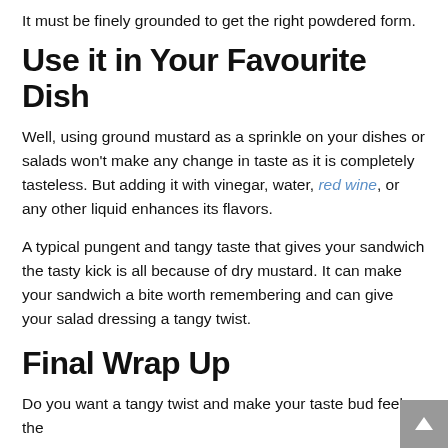It must be finely grounded to get the right powdered form.
Use it in Your Favourite Dish
Well, using ground mustard as a sprinkle on your dishes or salads won't make any change in taste as it is completely tasteless. But adding it with vinegar, water, red wine, or any other liquid enhances its flavors.
A typical pungent and tangy taste that gives your sandwich the tasty kick is all because of dry mustard. It can make your sandwich a bite worth remembering and can give your salad dressing a tangy twist.
Final Wrap Up
Do you want a tangy twist and make your taste bud feel the